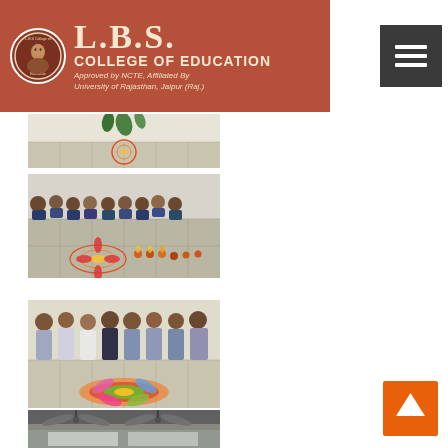[Figure (logo): L.B.S. College of Education banner logo on red/brown background with circular emblem. Text reads: L.B.S. COLLEGE OF EDUCATION, Approved by NCTE, Affiliated By University of Rajasthan, Jaipur (Raj.)]
[Figure (photo): Partial view of a decorative rangoli or flower arrangement on a tiled floor, top portion cropped]
[Figure (photo): Group of students sitting on a tiled floor around a colorful rangoli design with diyas and flower offerings arranged in a line]
[Figure (photo): Group of students (male and female) standing against a white wall with a colorful rangoli on the floor in front of them]
[Figure (photo): Interior shot of a room with ceiling fans, partially visible at bottom of page]